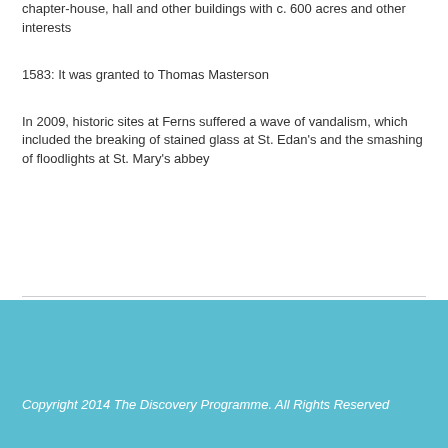chapter-house, hall and other buildings with c. 600 acres and other interests
1583: It was granted to Thomas Masterson
In 2009, historic sites at Ferns suffered a wave of vandalism, which included the breaking of stained glass at St. Edan's and the smashing of floodlights at St. Mary's abbey
Copyright 2014 The Discovery Programme. All Rights Reserved